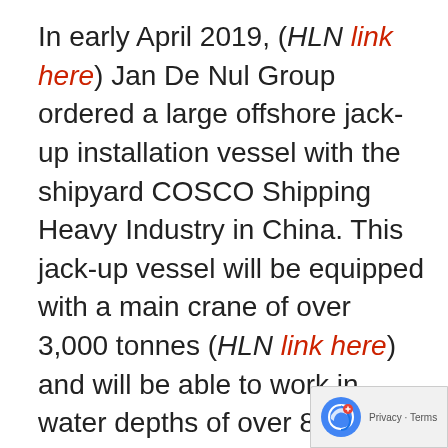In early April 2019, (HLN link here) Jan De Nul Group ordered a large offshore jack-up installation vessel with the shipyard COSCO Shipping Heavy Industry in China. This jack-up vessel will be equipped with a main crane of over 3,000 tonnes (HLN link here) and will be able to work in water depths of over 80 metres. As such, the ship will be able to install the new generation of very large offshore wind turbines. The vessel, to be named Voltaire, is set to be delivered in 2022.
The Rambiz and Gulliver heavy lift vessels listed in their fleet were in Norwegian coastal waters from November 2018 until March 2019 working on the Norwegian Navy vessel KNM Helge Ingstad salvage operation. This salvage...